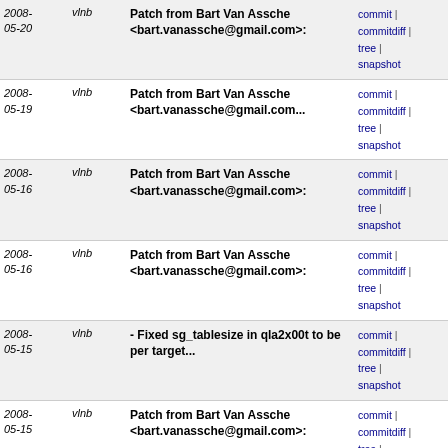| Date | User | Description | Links |
| --- | --- | --- | --- |
| 2008-05-20 | vlnb | Patch from Bart Van Assche <bart.vanassche@gmail.com>: | commit | commitdiff | tree | snapshot |
| 2008-05-19 | vlnb | Patch from Bart Van Assche <bart.vanassche@gmail.com... | commit | commitdiff | tree | snapshot |
| 2008-05-16 | vlnb | Patch from Bart Van Assche <bart.vanassche@gmail.com>: | commit | commitdiff | tree | snapshot |
| 2008-05-16 | vlnb | Patch from Bart Van Assche <bart.vanassche@gmail.com>: | commit | commitdiff | tree | snapshot |
| 2008-05-15 | vlnb | - Fixed sg_tablesize in qla2x00t to be per target... | commit | commitdiff | tree | snapshot |
| 2008-05-15 | vlnb | Patch from Bart Van Assche <bart.vanassche@gmail.com>: | commit | commitdiff | tree | snapshot |
| 2008-05-15 | vlnb | Update to the latest IET | commit | commitdiff | tree | snapshot |
| 2008-05-14 | vlnb | Interface versioning between iSCSI-SCST kernel and... | commit | commitdiff | tree | snapshot |
| 2008-05-14 | vlnb | Critical patch from anonymous. Fixes possible data... | commit | commitdiff | tree | snapshot |
| 2008-05-14 | vlnb | Patch from Bart Van Assche <bart.vanassche@gmail.com>: | commit | commitdiff | tree | snapshot |
| 2008- | vlnb | In "extraclean" target new... | commit |